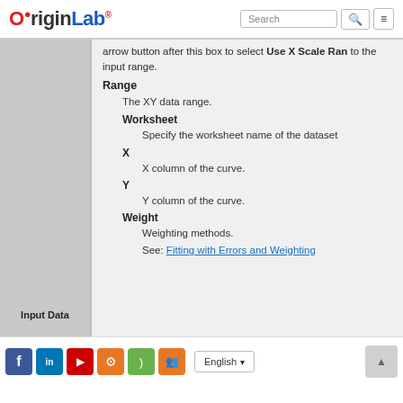OriginLab — Search / Menu
arrow button after this box to select Use X Scale Range to the input range.
Range
The XY data range.
Worksheet
Specify the worksheet name of the dataset
X
X column of the curve.
Y
Y column of the curve.
Weight
Weighting methods.
See: Fitting with Errors and Weighting
Input Data
Social icons | English language selector